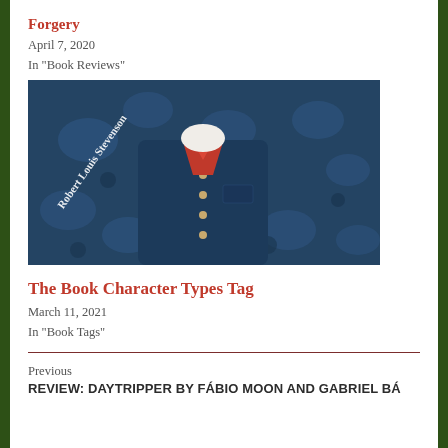Forgery
April 7, 2020
In "Book Reviews"
[Figure (photo): Book cover illustration showing a figure in a blue patterned jacket with a red neckerchief, with 'Robert Louis Stevenson' written diagonally in white script on a dark blue floral/botanical background.]
The Book Character Types Tag
March 11, 2021
In "Book Tags"
Previous
REVIEW: DAYTRIPPER BY FÁBIO MOON AND GABRIEL BÁ